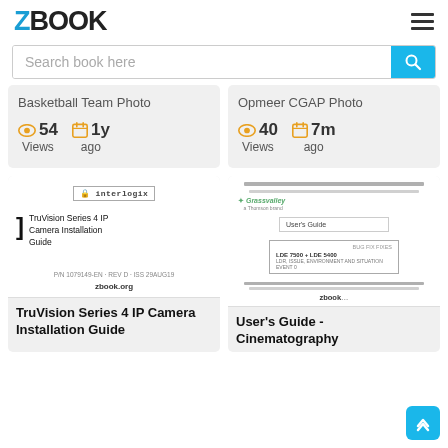ZBOOK
Search book here
Basketball Team Photo — 54 Views, 1y ago
Opmeer CGAP Photo — 40 Views, 7m ago
[Figure (screenshot): Book cover thumbnail for TruVision Series 4 IP Camera Installation Guide by interlogix, showing logo and title text, zbook.org footer]
TruVision Series 4 IP Camera Installation Guide
[Figure (screenshot): Book cover thumbnail showing a User's Guide document for LDE 7500 + LDE 5400, with zbook.org footer]
User's Guide - Cinematography